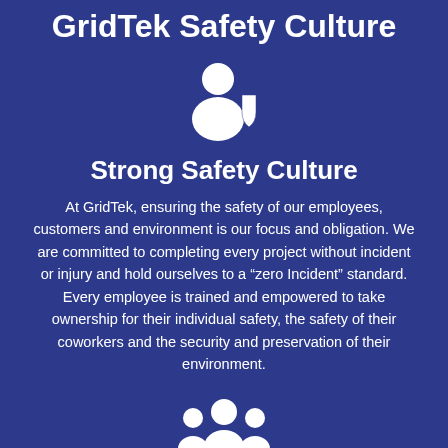GridTek Safety Culture
[Figure (illustration): White icon of a person with a shield, representing safety/protection]
Strong Safety Culture
At GridTek, ensuring the safety of our employees, customers and environment is our focus and obligation. We are committed to completing every project without incident or injury and hold ourselves to a “zero Incident” standard. Every employee is trained and empowered to take ownership for their individual safety, the safety of their coworkers and the security and preservation of their environment.
[Figure (illustration): White icon of a group of people, representing community/team]